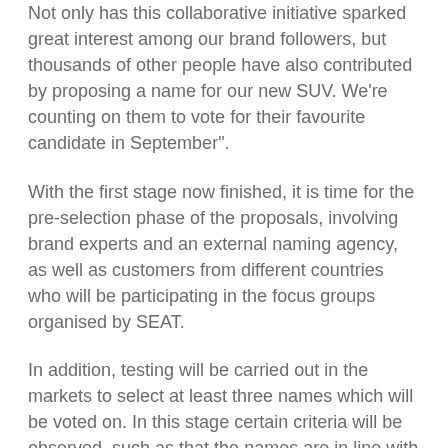Not only has this collaborative initiative sparked great interest among our brand followers, but thousands of other people have also contributed by proposing a name for our new SUV. We're counting on them to vote for their favourite candidate in September".
With the first stage now finished, it is time for the pre-selection phase of the proposals, involving brand experts and an external naming agency, as well as customers from different countries who will be participating in the focus groups organised by SEAT.
In addition, testing will be carried out in the markets to select at least three names which will be voted on. In this stage certain criteria will be observed, such as that the names are in line with the brand values and product characteristics and that they are easy to pronounce in several languages.
SEAT will announce the names of the finalists at the